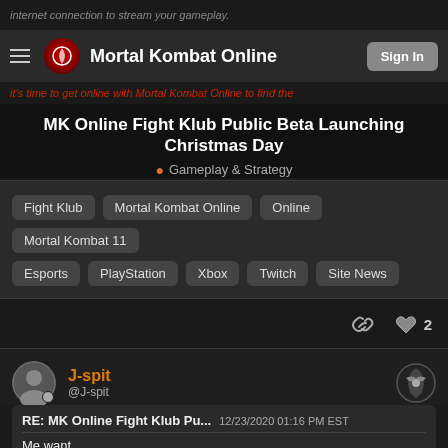internet connection to stream your gameplay.
Mortal Kombat Online | Sign In
it's time to get online with Mortal Kombat Online to find the
MK Online Fight Klub Public Beta Launching Christmas Day
Gameplay & Strategy
Fight Klub
Mortal Kombat Online
Online
Mortal Kombat 11
Esports
PlayStation
Xbox
Twitch
Site News
2 likes
J-spit
@J-spit
RE: MK Online Fight Klub Pu... 12/23/2020 01:16 PM EST
Me want.